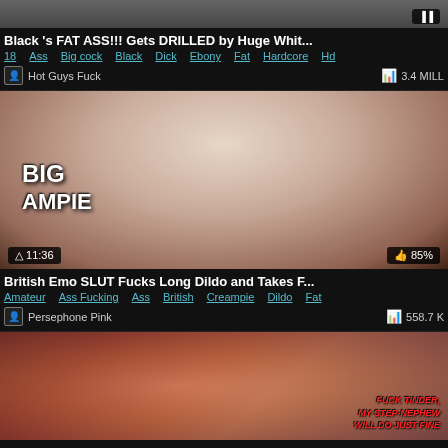[Figure (screenshot): Partial video thumbnail at top of page (cropped)]
Black 's FAT ASS!!! Gets DRILLED by Huge Whit...
18  Ass  Big cock  Black  Dick  Ebony  Fat  Hardcore  Hd
Hot Guys Fuck   3.4 MILL
[Figure (screenshot): Video thumbnail showing explicit content with overlay text BIG AMPIE, duration 11:36, rating 85%]
British Emo SLUT Fucks Long Dildo and Takes F...
Amateur  Ass Fucking  Ass  British  Creampie  Dildo  Fat
Persephone Pink   558.7 K
[Figure (screenshot): Video thumbnail showing explicit content with overlay text FUCK TINDER, MY STEP-NEPHEW WILL DO JUST FINE]